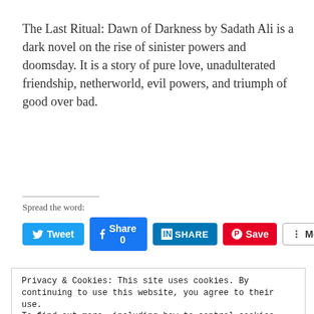The Last Ritual: Dawn of Darkness by Sadath Ali is a dark novel on the rise of sinister powers and doomsday. It is a story of pure love, unadulterated friendship, netherworld, evil powers, and triumph of good over bad.
Spread the word:
[Figure (screenshot): Social sharing buttons: Tweet (Twitter, blue), Share 0 (Facebook, blue), SHARE (LinkedIn, dark blue with 'in' logo), Save (Pinterest, red with P logo), More (grey outlined button)]
Privacy & Cookies: This site uses cookies. By continuing to use this website, you agree to their use.
To find out more, including how to control cookies, see here: Cookie Policy
Close and accept